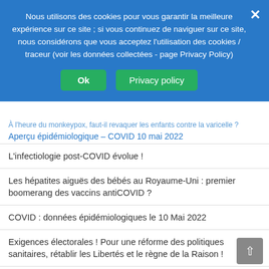Nous utilisons des cookies pour vous garantir la meilleure expérience sur ce site ; si vous continuez de naviguer sur ce site, nous considérons que vous acceptez l'utilisation des cookies / traceur (voir les données collectées - page Privacy Policy)
Ok | Privacy policy
Aperçu épidémiologique – COVID 10 mai 2022
L'infectiologie post-COVID évolue !
Les hépatites aiguës des bébés au Royaume-Uni : premier boomerang des vaccins antiCOVID ?
COVID : données épidémiologiques le 10 Mai 2022
Exigences électorales ! Pour une réforme des politiques sanitaires, rétablir les Libertés et le règne de la Raison !
Aimez-vous le papillomavirus ? Ou préférez-vous le violoncelle ?
Par temps de COVID-19, aimez-vous Brahms ou l'actualité épidémiologique ?
COVID-19 en Avril 2022 : je vais vous expliquer !